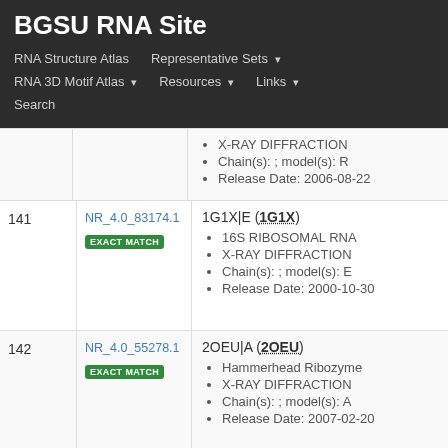BGSU RNA Site
RNA Structure Atlas | Representative Sets | RNA 3D Motif Atlas | Resources | Links | Search
| # | ID | Details |
| --- | --- | --- |
|  |  | X-RAY DIFFRACTION
Chain(s): ; model(s): R
Release Date: 2006-08-22 |
| 141 | NR_4.0_83174.1 EXACT MATCH | 1G1X|E (1G1X)
16S RIBOSOMAL RNA
X-RAY DIFFRACTION
Chain(s): ; model(s): E
Release Date: 2000-10-30 |
| 142 | NR_4.0_55278.1 EXACT MATCH | 2OEU|A (2OEU)
Hammerhead Ribozyme
X-RAY DIFFRACTION
Chain(s): ; model(s): A
Release Date: 2007-02-20 |